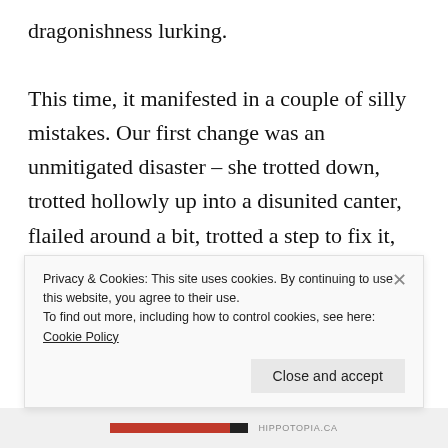dragonishness lurking.

This time, it manifested in a couple of silly mistakes. Our first change was an unmitigated disaster – she trotted down, trotted hollowly up into a disunited canter, flailed around a bit, trotted a step to fix it, and then plopped forth, earning a well-deserved 4. Her second change was very solid for a 6 and the rest of the test was smoother and more consistent. We even got the halt immobility for 5 seconds without any trouble. Mostly sixes and a few 6.5s earned us 62%, our second time
Privacy & Cookies: This site uses cookies. By continuing to use this website, you agree to their use.
To find out more, including how to control cookies, see here: Cookie Policy